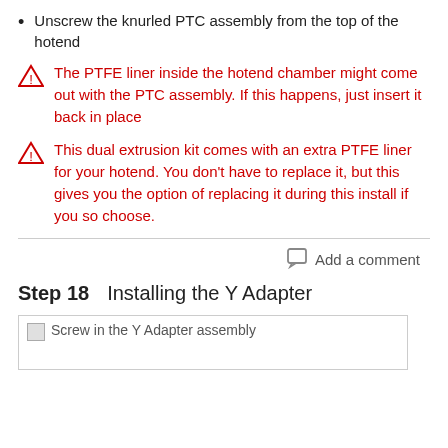Unscrew the knurled PTC assembly from the top of the hotend
The PTFE liner inside the hotend chamber might come out with the PTC assembly. If this happens, just insert it back in place
This dual extrusion kit comes with an extra PTFE liner for your hotend. You don't have to replace it, but this gives you the option of replacing it during this install if you so choose.
Add a comment
Step 18    Installing the Y Adapter
[Figure (photo): Screw in the Y Adapter assembly - image placeholder]